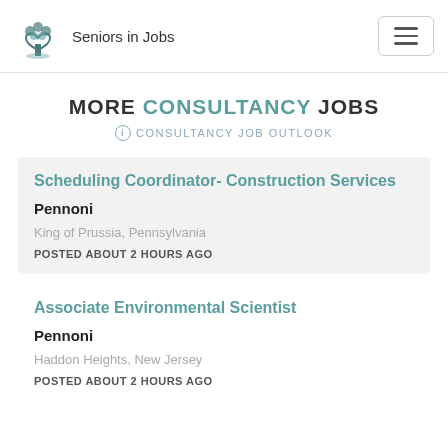Seniors in Jobs
MORE CONSULTANCY JOBS
ⓘ CONSULTANCY JOB OUTLOOK
Scheduling Coordinator- Construction Services
Pennoni
King of Prussia, Pennsylvania
POSTED ABOUT 2 HOURS AGO
Associate Environmental Scientist
Pennoni
Haddon Heights, New Jersey
POSTED ABOUT 2 HOURS AGO